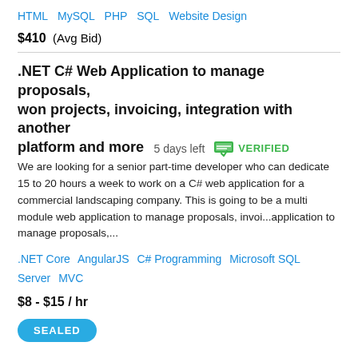HTML  MySQL  PHP  SQL  Website Design
$410  (Avg Bid)
.NET C# Web Application to manage proposals, won projects, invoicing, integration with another platform and more  5 days left  VERIFIED
We are looking for a senior part-time developer who can dedicate 15 to 20 hours a week to work on a C# web application for a commercial landscaping company. This is going to be a multi module web application to manage proposals, invoi...application to manage proposals,...
.NET Core  AngularJS  C# Programming  Microsoft SQL Server  MVC
$8 - $15 / hr
SEALED